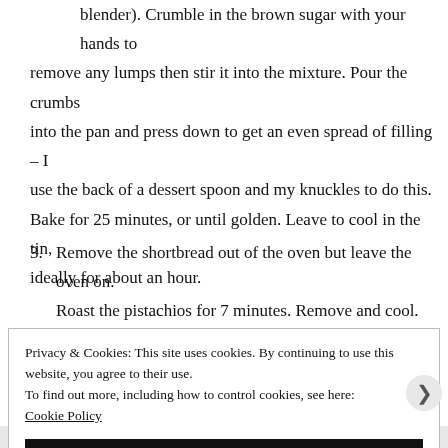blender). Crumble in the brown sugar with your hands to remove any lumps then stir it into the mixture. Pour the crumbs into the pan and press down to get an even spread of filling – I use the back of a dessert spoon and my knuckles to do this. Bake for 25 minutes, or until golden. Leave to cool in the tin, ideally for about an hour.
3. Remove the shortbread out of the oven but leave the oven on. Roast the pistachios for 7 minutes. Remove and cool. Switch off the oven. Once the nuts have cooled, roughly chop them.
Privacy & Cookies: This site uses cookies. By continuing to use this website, you agree to their use.
To find out more, including how to control cookies, see here: Cookie Policy
Close and accept